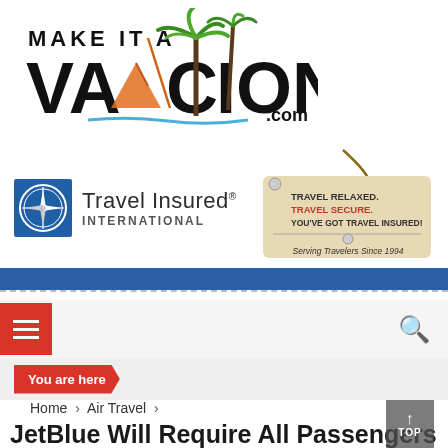[Figure (logo): Make It A Vacation .com logo with stylized text, palm tree, mountain, and wave graphics]
[Figure (logo): Travel Insured International logo with compass rose icon, and a price tag graphic reading: TRAVEL RELAXED. TRAVEL SECURE. YOU'VE GOT TRAVEL INSURED! Serving Travelers Since 1994]
[Figure (screenshot): Navigation bar with red hamburger menu icon on left and search magnifying glass icon on right, on light gray background]
You are here
Home > Air Travel >
JetBlue Will Require All Passengers To Wear Face Masks